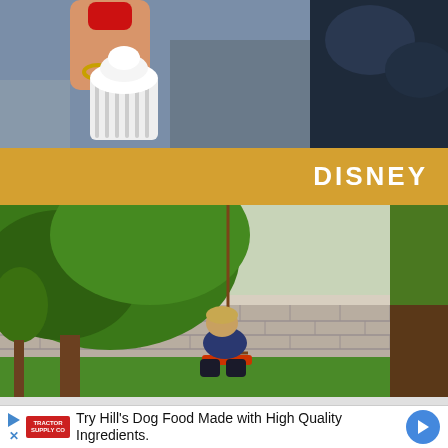[Figure (photo): Close-up photo of a hand with red painted fingernails and a ring holding a white cupcake wrapper, with a dark background panel on the right]
DISNEY
[Figure (photo): Outdoor backyard photo of a young boy sitting on a red rope swing seat under a large green tree, with a concrete block wall and green lawn in the background]
Try Hill's Dog Food Made with High Quality Ingredients.